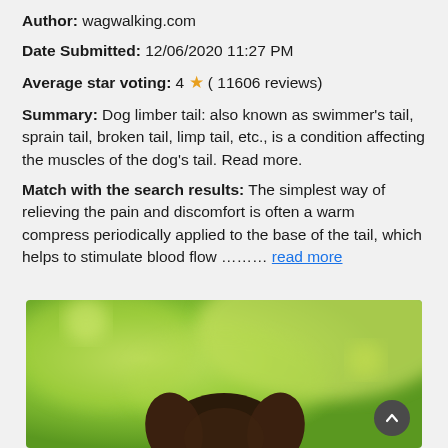Author: wagwalking.com
Date Submitted: 12/06/2020 11:27 PM
Average star voting: 4 ★ ( 11606 reviews)
Summary: Dog limber tail: also known as swimmer's tail, sprain tail, broken tail, limp tail, etc., is a condition affecting the muscles of the dog's tail. Read more.
Match with the search results: The simplest way of relieving the pain and discomfort is often a warm compress periodically applied to the base of the tail, which helps to stimulate blood flow ……… read more
[Figure (photo): A dog photographed outdoors with a green blurred background, showing the top of a dark brown dog's head from above.]